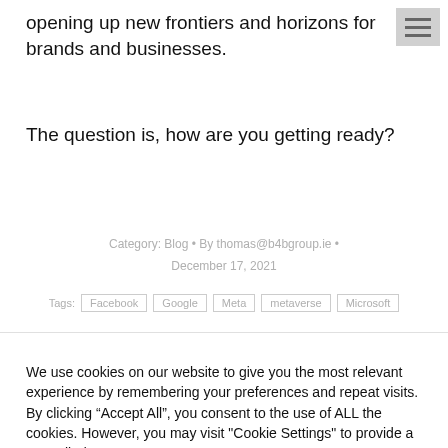opening up new frontiers and horizons for brands and businesses.
The question is, how are you getting ready?
Category: Blog • By thomas@b4bgroup.ie • December 17, 2021
Tags: Facebook Google Meta metaverse Microsoft
We use cookies on our website to give you the most relevant experience by remembering your preferences and repeat visits. By clicking "Accept All", you consent to the use of ALL the cookies. However, you may visit "Cookie Settings" to provide a controlled consent.